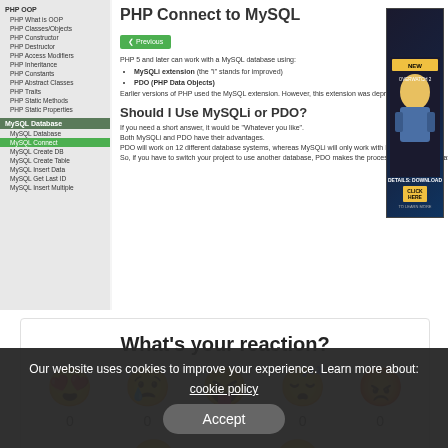PHP Connect to MySQL
PHP 5 and later can work with a MySQL database using:
- MySQLi extension (the 'i' stands for improved)
- PDO (PHP Data Objects)
Earlier versions of PHP used the MySQL extension. However, this extension was deprecated in 2012.
Should I Use MySQLi or PDO?
If you need a short answer, it would be "Whatever you like".
Both MySQLi and PDO have their advantages.
PDO will work on 12 different database systems, whereas MySQLi will only work with MySQL databases.
So, if you have to switch your project to use another database, PDO makes the process easy. You only have to
What's your reaction?
0  0  0  0  0
0  0
Our website uses cookies to improve your experience. Learn more about:
cookie policy
Accept